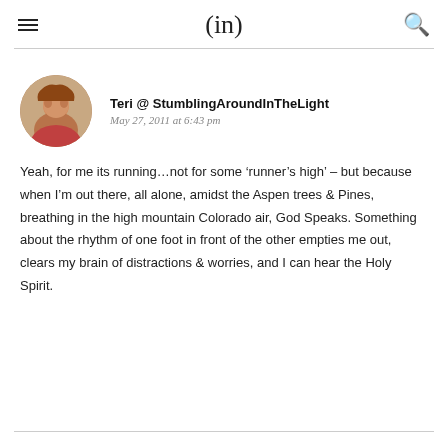(in)
Teri @ StumblingAroundInTheLight
May 27, 2011 at 6:43 pm
Yeah, for me its running...not for some ‘runner’s high’ – but because when I’m out there, all alone, amidst the Aspen trees & Pines, breathing in the high mountain Colorado air, God Speaks. Something about the rhythm of one foot in front of the other empties me out, clears my brain of distractions & worries, and I can hear the Holy Spirit.